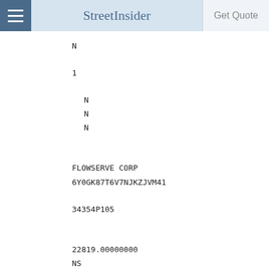StreetInsider | Get Quote
N
1
N
N
N
FLOWSERVE CORP
6Y0GK87T6V7NJKZJVM41
34354P105
22819.00000000
NS
USD
819202.10000000
0.509811076999
Long
EC